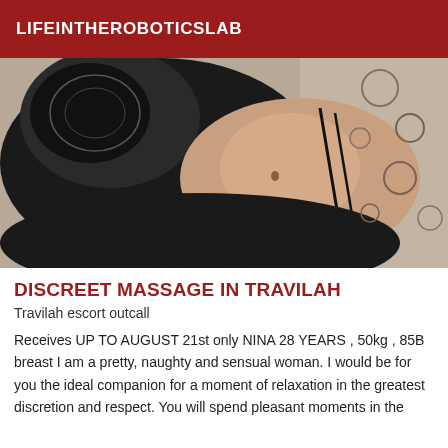LIFEINTHEROBOTICSLSAB
[Figure (photo): Photo of a person lying down wearing black lingerie on a floral patterned surface]
DISCREET MASSAGE IN TRAVILAH
Travilah escort outcall
Receives UP TO AUGUST 21st only NINA 28 YEARS , 50kg , 85B breast I am a pretty, naughty and sensual woman. I would be for you the ideal companion for a moment of relaxation in the greatest discretion and respect. You will spend pleasant moments in the